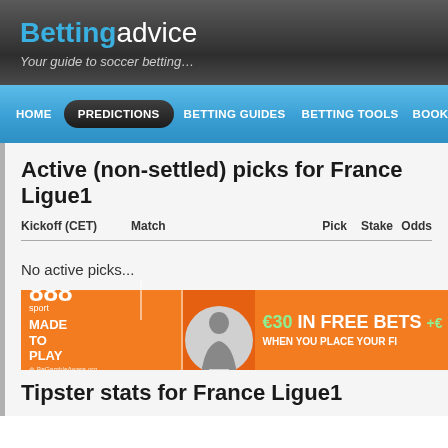Bettingadvice — Your guide to soccer betting…
Active (non-settled) picks for France Ligue1
| Kickoff (CET) | Match | Pick | Stake | Odds |
| --- | --- | --- | --- | --- |
No active picks...
[Figure (other): 888sport advertisement banner: MADE TO PLAY, €30 IN FREE BETS WHEN YOU PLACE YOUR FI...]
Tipster stats for France Ligue1